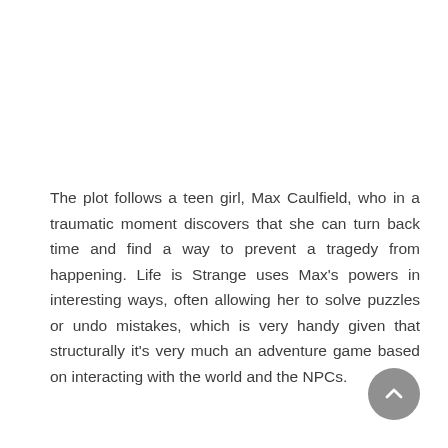The plot follows a teen girl, Max Caulfield, who in a traumatic moment discovers that she can turn back time and find a way to prevent a tragedy from happening. Life is Strange uses Max's powers in interesting ways, often allowing her to solve puzzles or undo mistakes, which is very handy given that structurally it's very much an adventure game based on interacting with the world and the NPCs.